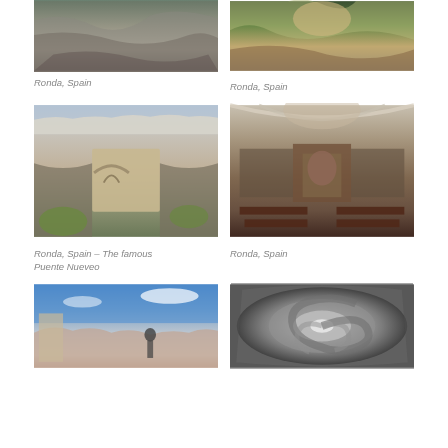[Figure (photo): Rocky cliff face in Ronda, Spain - close-up of steep limestone gorge walls]
Ronda, Spain
[Figure (photo): Rocky cliff with green vegetation and cave-like formations in Ronda, Spain]
Ronda, Spain
[Figure (photo): The famous Puente Nuevo bridge spanning the El Tajo gorge in Ronda, Spain with arched stone bridge and cliffs]
Ronda, Spain – The famous Puente Nueveo
[Figure (photo): Interior of a church in Ronda, Spain showing ornate altar, arched ceiling, frescoes and dark wooden pews]
Ronda, Spain
[Figure (photo): Panoramic view over rooftops of Ronda, Spain from elevated viewpoint with person standing, blue sky]
[Figure (photo): Looking up into a spiral staircase from below, showing circular stone architecture in Ronda, Spain]